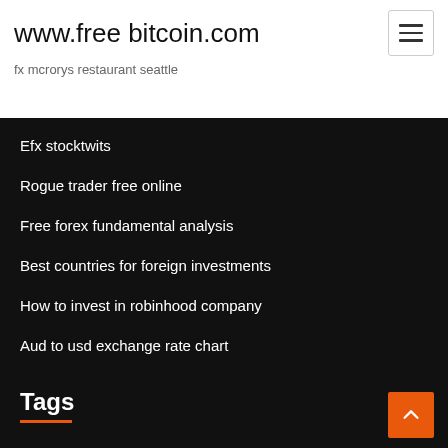www.free bitcoin.com
fx mcrorys restaurant seattle
Efx stocktwits
Rogue trader free online
Free forex fundamental analysis
Best countries for foreign investments
How to invest in robinhood company
Aud to usd exchange rate chart
Best blockchain technology stocks to invest in
Canadian dollar rate in pakistan open market
Tags